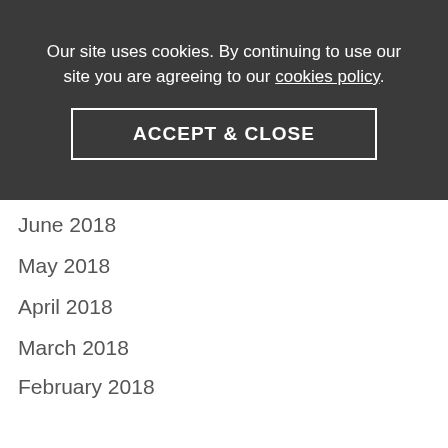November 2018
October 2018
September 2018
August 2018
July 2018
[Figure (screenshot): Cookie consent overlay with text: 'Our site uses cookies. By continuing to use our site you are agreeing to our cookies policy.' and an ACCEPT & CLOSE button.]
June 2018
May 2018
April 2018
March 2018
February 2018
January 2018
December 2017
November 2017